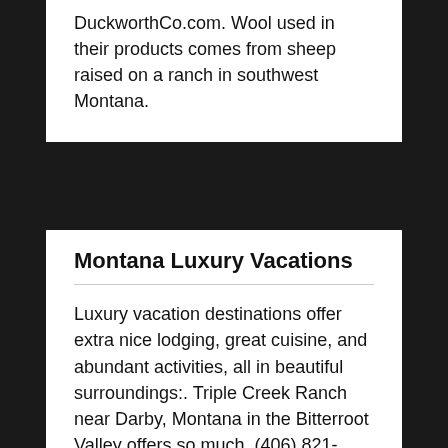DuckworthCo.com. Wool used in their products comes from sheep raised on a ranch in southwest Montana.
Montana Luxury Vacations
Luxury vacation destinations offer extra nice lodging, great cuisine, and abundant activities, all in beautiful surroundings:. Triple Creek Ranch near Darby, Montana in the Bitterroot Valley offers so much. (406) 821-4600. TrippleCreekRanch.com. *** The Resort at Paws Up near Greenough, Montana, located 35 minutes northeast of Missoula, rivals the best. (877) 580-6343. PawsUp.com *** The Sage Lodge, a few miles south of Livingston, Montana, offers luxury and great